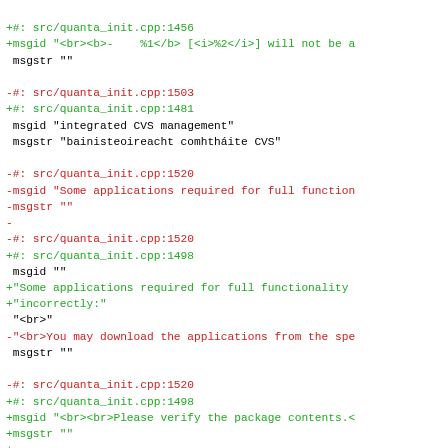+#: src/quanta_init.cpp:1456
+msgid "<br><b>-    %1</b> [<i>%2</i>] will not be a
 msgstr ""

-#: src/quanta_init.cpp:1503
+#: src/quanta_init.cpp:1481
 msgid "integrated CVS management"
 msgstr "bainisteoireacht comhtháite CVS"

-#: src/quanta_init.cpp:1520
-msgid "Some applications required for full function
-msgstr ""
-
-#: src/quanta_init.cpp:1520
+#: src/quanta_init.cpp:1498
 msgid ""
+"Some applications required for full functionality
+"incorrectly:"
 "<br>"
-"<br>You may download the applications from the spe
 msgstr ""

-#: src/quanta_init.cpp:1520
+#: src/quanta_init.cpp:1498
+msgid "<br><br>Please verify the package contents.<
+msgstr ""
+
+#: src/quanta_init.cpp:1498
 msgid "Missing Applications"
 msgstr "Feidhbmchláir Ar Iarraidh"